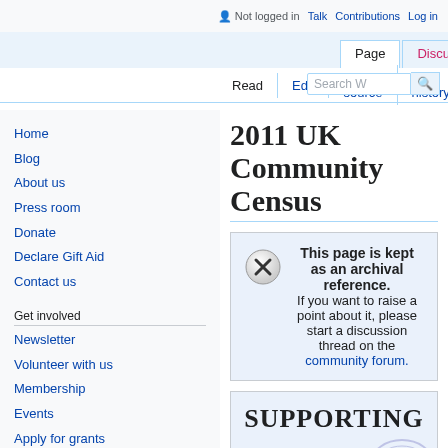Not logged in  Talk  Contributions  Log in
Page  Discussion
Read  Edit  Edit source  View history  Search W
2011 UK Community Census
This page is kept as an archival reference. If you want to raise a point about it, please start a discussion thread on the community forum.
Home
Blog
About us
Press room
Donate
Declare Gift Aid
Contact us
Get involved
Newsletter
Volunteer with us
Membership
Events
Apply for grants
Supporting